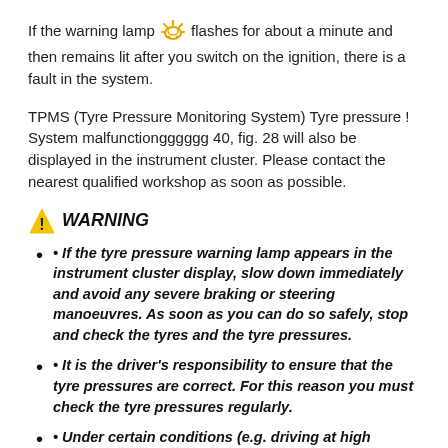If the warning lamp [TPMS icon] flashes for about a minute and then remains lit after you switch on the ignition, there is a fault in the system.
TPMS (Tyre Pressure Monitoring System) Tyre pressure ! System malfunctiongggggg 40, fig. 28 will also be displayed in the instrument cluster. Please contact the nearest qualified workshop as soon as possible.
⚠ WARNING
• If the tyre pressure warning lamp appears in the instrument cluster display, slow down immediately and avoid any severe braking or steering manoeuvres. As soon as you can do so safely, stop and check the tyres and the tyre pressures.
• It is the driver's responsibility to ensure that the tyre pressures are correct. For this reason you must check the tyre pressures regularly.
• Under certain conditions (e.g. driving at high speeds, on ice and snow or on poor road surfaces) the tyre pressure warning lamp may not light up